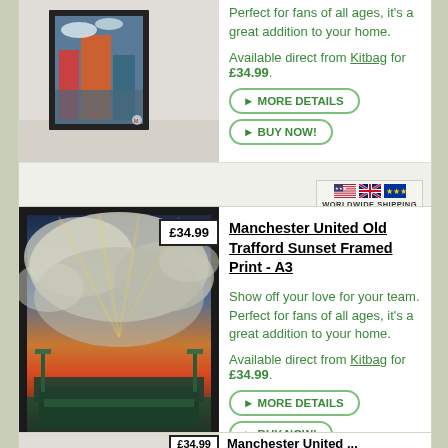Perfect for fans of all ages, it's a great addition to your home.
Available direct from Kitbag for £34.99.
MORE DETAILS
BUY NOW!
[Figure (photo): Worldwide shipping badge with US, UK and EU flags]
[Figure (photo): Manchester United Old Trafford Sunset framed print product image with price tag £34.99]
Manchester United Old Trafford Sunset Framed Print - A3
Show off your love for your team. Perfect for fans of all ages, it's a great addition to your home.
Available direct from Kitbag for £34.99.
MORE DETAILS
BUY NOW!
[Figure (photo): Worldwide shipping badge with US, UK and EU flags]
£34.99
Manchester United ...